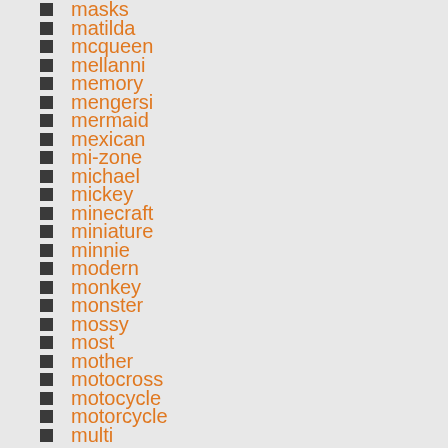masks
matilda
mcqueen
mellanni
memory
mengersi
mermaid
mexican
mi-zone
michael
mickey
minecraft
miniature
minnie
modern
monkey
monster
mossy
most
mother
motocross
motocycle
motorcycle
multi